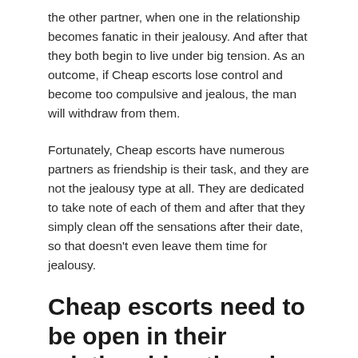the other partner, when one in the relationship becomes fanatic in their jealousy. And after that they both begin to live under big tension. As an outcome, if Cheap escorts lose control and become too compulsive and jealous, the man will withdraw from them.
Fortunately, Cheap escorts have numerous partners as friendship is their task, and they are not the jealousy type at all. They are dedicated to take note of each of them and after that they simply clean off the sensations after their date, so that doesn't even leave them time for jealousy.
Cheap escorts need to be open in their relationship otherwise will lose the guy
In the starting Cheap escorts are mystical and that is the right step to attract a man, otherwise they will not be even interested to start with. But once they remain in a relationship currently, the female from Cheap escorts has to be open with the man she likes. Obviously in the beginning of a relationship it's not an excellent concept to be too significant and to talk too much about her problems